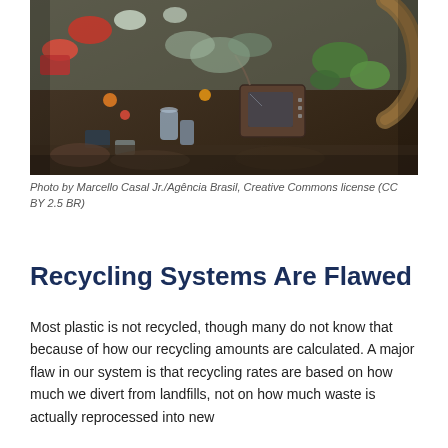[Figure (photo): A large pile of mixed waste and trash including plastic bags, broken electronics (an old television set), cans, and various debris.]
Photo by Marcello Casal Jr./Agência Brasil, Creative Commons license (CC BY 2.5 BR)
Recycling Systems Are Flawed
Most plastic is not recycled, though many do not know that because of how our recycling amounts are calculated. A major flaw in our system is that recycling rates are based on how much we divert from landfills, not on how much waste is actually reprocessed into new